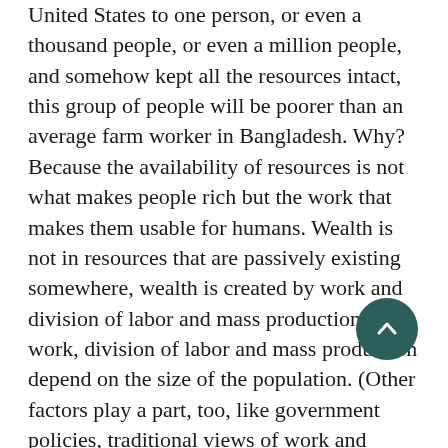United States to one person, or even a thousand people, or even a million people, and somehow kept all the resources intact, this group of people will be poorer than an average farm worker in Bangladesh. Why? Because the availability of resources is not what makes people rich but the work that makes them usable for humans. Wealth is not in resources that are passively existing somewhere, wealth is created by work and division of labor and mass production, and work, division of labor and mass production depend on the size of the population. (Other factors play a part, too, like government policies, traditional views of work and entrepreneurship, etc.)
Related to it is that other socialist argument: "Immigrants are taking our jobs." Er, excuse me? Whose jobs are those? In what sense does a job belong to you and not to the employer? If I need a